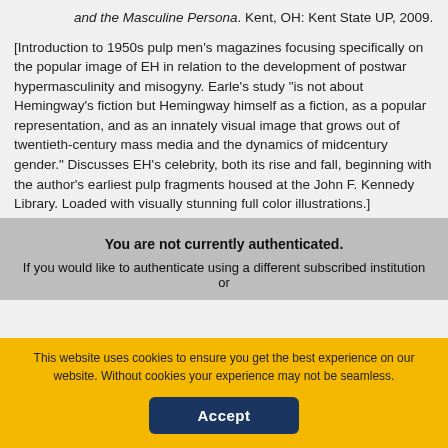and the Masculine Persona. Kent, OH: Kent State UP, 2009.
[Introduction to 1950s pulp men's magazines focusing specifically on the popular image of EH in relation to the development of postwar hypermasculinity and misogyny. Earle's study "is not about Hemingway's fiction but Hemingway himself as a fiction, as a popular representation, and as an innately visual image that grows out of twentieth-century mass media and the dynamics of midcentury gender." Discusses EH's celebrity, both its rise and fall, beginning with the author's earliest pulp fragments housed at the John F. Kennedy Library. Loaded with visually stunning full color illustrations.]
collapse
You are not currently authenticated. If you would like to authenticate using a different subscribed institution or
This website uses cookies to ensure you get the best experience on our website. Without cookies your experience may not be seamless.
Accept